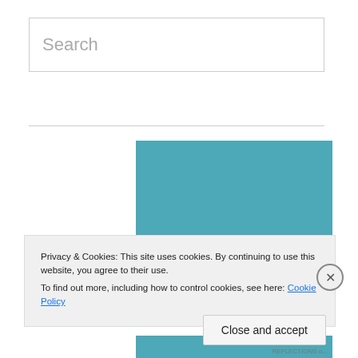Search
[Figure (logo): Teal/blue background logo reading 'Reflections of a Book Addict' in italic script font]
Privacy & Cookies: This site uses cookies. By continuing to use this website, you agree to their use.
To find out more, including how to control cookies, see here: Cookie Policy
Close and accept